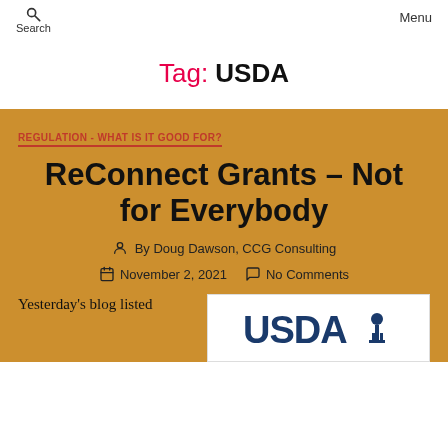Search    Menu
Tag: USDA
REGULATION - WHAT IS IT GOOD FOR?
ReConnect Grants – Not for Everybody
By Doug Dawson, CCG Consulting
November 2, 2021    No Comments
Yesterday's blog listed
[Figure (logo): USDA logo with text USDA and a water tower icon]